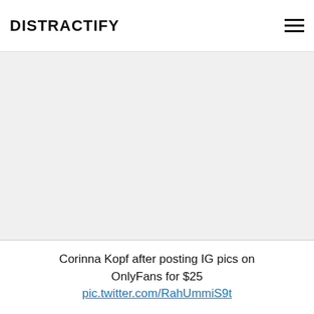DISTRACTIFY
[Figure (other): Gray advertisement or image placeholder area]
Corinna Kopf after posting IG pics on OnlyFans for $25 pic.twitter.com/RahUmmiS9t
— Klima 🇮🇹 (@klimafooty) June 9, 2021